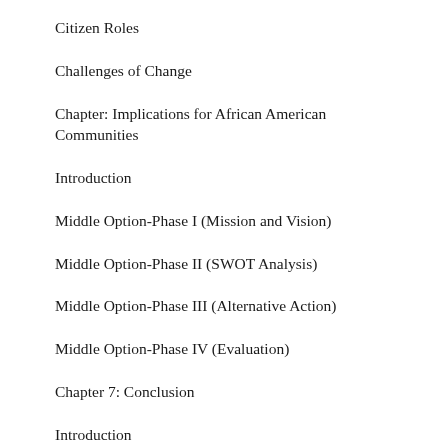Citizen Roles
Challenges of Change
Chapter: Implications for African American Communities
Introduction
Middle Option-Phase I (Mission and Vision)
Middle Option-Phase II (SWOT Analysis)
Middle Option-Phase III (Alternative Action)
Middle Option-Phase IV (Evaluation)
Chapter 7: Conclusion
Introduction